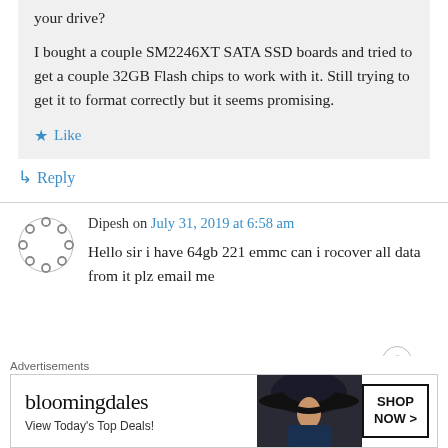your drive?
I bought a couple SM2246XT SATA SSD boards and tried to get a couple 32GB Flash chips to work with it. Still trying to get it to format correctly but it seems promising.
★ Like
↳ Reply
Dipesh on July 31, 2019 at 6:58 am
Hello sir i have 64gb 221 emmc can i rocover all data from it plz email me
Advertisements
[Figure (other): Bloomingdale's advertisement banner with woman in hat. Text reads: bloomingdales, View Today's Top Deals!, SHOP NOW >]